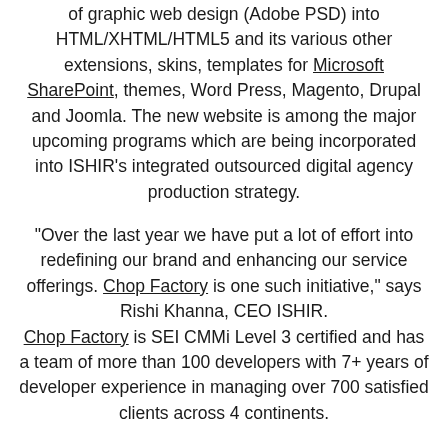of graphic web design (Adobe PSD) into HTML/XHTML/HTML5 and its various other extensions, skins, templates for Microsoft SharePoint, themes, Word Press, Magento, Drupal and Joomla. The new website is among the major upcoming programs which are being incorporated into ISHIR's integrated outsourced digital agency production strategy.
“Over the last year we have put a lot of effort into redefining our brand and enhancing our service offerings. Chop Factory is one such initiative,” says Rishi Khanna, CEO ISHIR.
Chop Factory is SEI CMMi Level 3 certified and has a team of more than 100 developers with 7+ years of developer experience in managing over 700 satisfied clients across 4 continents.
Rishi adds, “We have large pool of employees